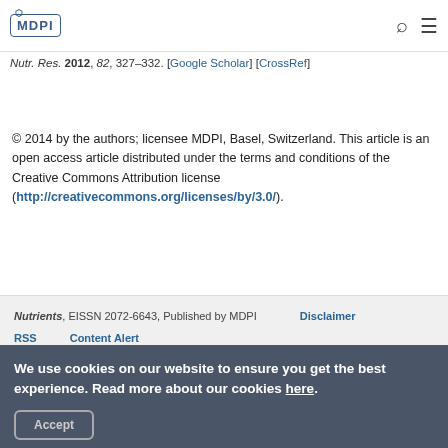MDPI
Nutr. Res. 2012, 82, 327–332. [Google Scholar] [CrossRef]
© 2014 by the authors; licensee MDPI, Basel, Switzerland. This article is an open access article distributed under the terms and conditions of the Creative Commons Attribution license (http://creativecommons.org/licenses/by/3.0/).
Nutrients, EISSN 2072-6643, Published by MDPI   Disclaimer  RSS   Content Alert
We use cookies on our website to ensure you get the best experience. Read more about our cookies here.  Accept